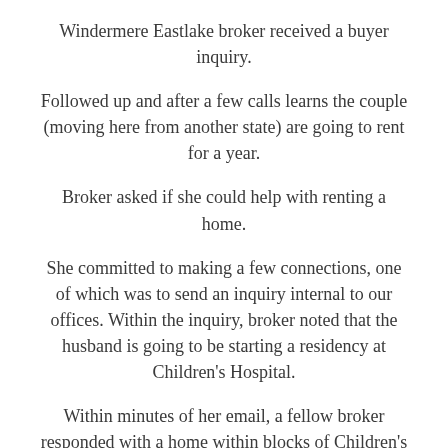Windermere Eastlake broker received a buyer inquiry.
Followed up and after a few calls learns the couple (moving here from another state) are going to rent for a year.
Broker asked if she could help with renting a home.
She committed to making a few connections, one of which was to send an inquiry internal to our offices. Within the inquiry, broker noted that the husband is going to be starting a residency at Children's Hospital.
Within minutes of her email, a fellow broker responded with a home within blocks of Children's Hospital.
The couple is visiting this week and called to say they are